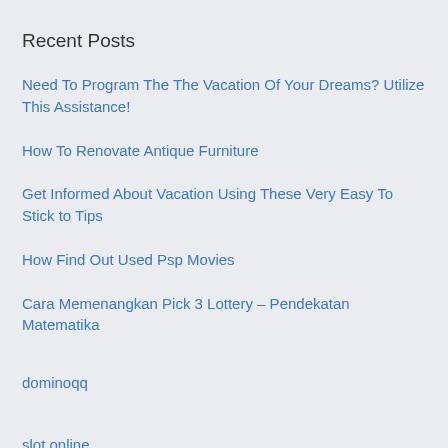Recent Posts
Need To Program The The Vacation Of Your Dreams? Utilize This Assistance!
How To Renovate Antique Furniture
Get Informed About Vacation Using These Very Easy To Stick to Tips
How Find Out Used Psp Movies
Cara Memenangkan Pick 3 Lottery – Pendekatan Matematika
dominoqq
slot online